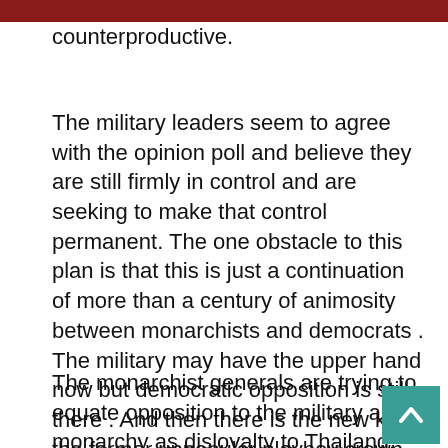counterproductive.
The military leaders seem to agree with the opinion poll and believe they are still firmly in control and are seeking to make that control permanent. The one obstacle to this plan is that this is just a continuation of more than a century of animosity between monarchists and democrats . The military may have the upper hand now but democratic opposition is still there . And then there is the new king, the former unpopular playboy crown prince, who is rapidly turning into an unpopular king while seeking more control over the military and more money for his increasingly (compared to his popular father) lavish lifestyle.
The monarchist generals are trying to equate opposition to the military and monarchy as disloyalty to Thailand. That has proved to be a hard